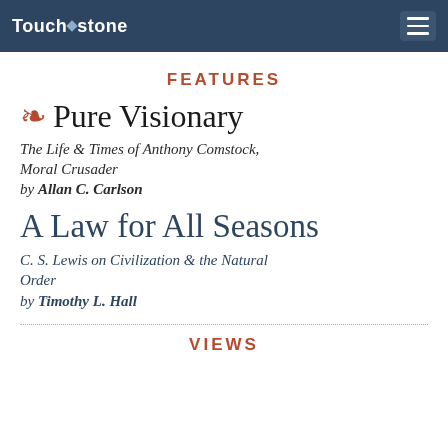Touchstone
FEATURES
❧ Pure Visionary
The Life & Times of Anthony Comstock, Moral Crusader
by Allan C. Carlson
A Law for All Seasons
C. S. Lewis on Civilization & the Natural Order
by Timothy L. Hall
VIEWS